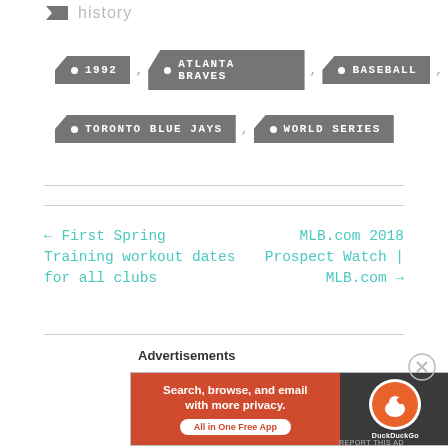history
1992
ATLANTA BRAVES
BASEBALL
TORONTO BLUE JAYS
WORLD SERIES
← First Spring Training workout dates for all clubs
MLB.com 2018 Prospect Watch | MLB.com →
Advertisements
[Figure (infographic): DuckDuckGo advertisement banner: 'Search, browse, and email with more privacy. All in One Free App' on orange background with DuckDuckGo logo on dark background.]